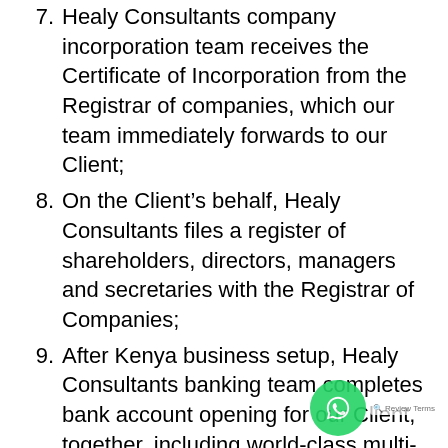7. Healy Consultants company incorporation team receives the Certificate of Incorporation from the Registrar of companies, which our team immediately forwards to our Client;
8. On the Client's behalf, Healy Consultants files a register of shareholders, directors, managers and secretaries with the Registrar of Companies;
9. After Kenya business setup, Healy Consultants banking team completes bank account opening for our Client, together, including world-class multi-currency internet banking facilities. Healy Consultants works with internationally recognised banks...